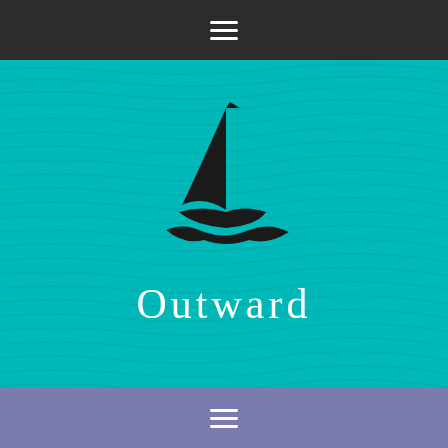Navigation bar with hamburger menu icon
[Figure (logo): Black silhouette sailboat with sail and wave beneath it on teal/turquoise textured background]
Outward
Navigation bar with hamburger menu icon